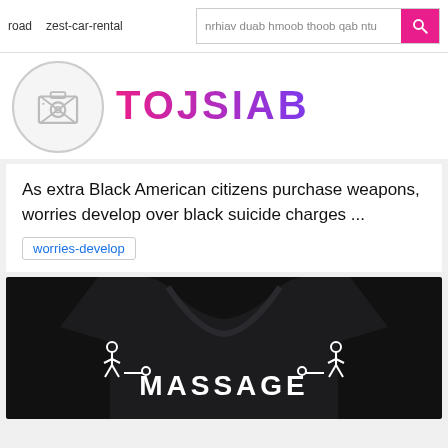road   zest-car-rental   nrhiav duab hmoob thoob qab ntu [search]
TOJSIAB
[Figure (photo): Circular placeholder image with camera icon]
As extra Black American citizens purchase weapons, worries develop over black suicide charges ...
worries-develop
[Figure (photo): Black t-shirt with MASSAGE text and massage figure icons]